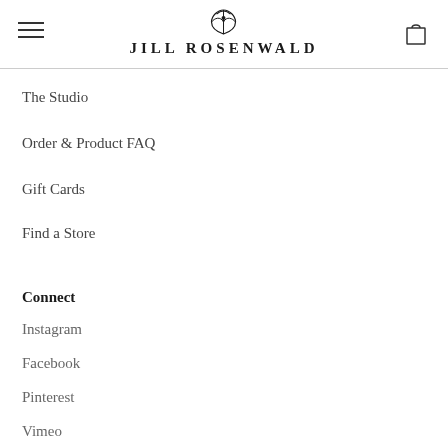JILL ROSENWALD
The Studio
Order & Product FAQ
Gift Cards
Find a Store
Connect
Instagram
Facebook
Pinterest
Vimeo
Contact